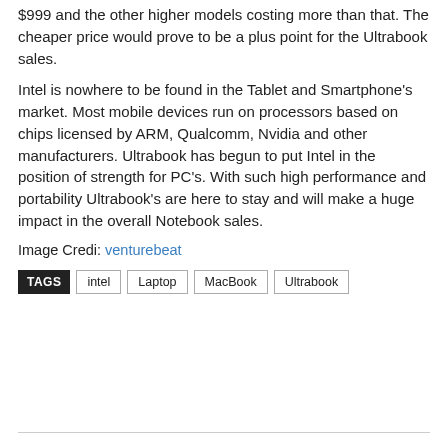$999 and the other higher models costing more than that. The cheaper price would prove to be a plus point for the Ultrabook sales.
Intel is nowhere to be found in the Tablet and Smartphone’s market. Most mobile devices run on processors based on chips licensed by ARM, Qualcomm, Nvidia and other manufacturers. Ultrabook has begun to put Intel in the position of strength for PC’s. With such high performance and portability Ultrabook’s are here to stay and will make a huge impact in the overall Notebook sales.
Image Credi: venturebeat
TAGS  intel  Laptop  MacBook  Ultrabook